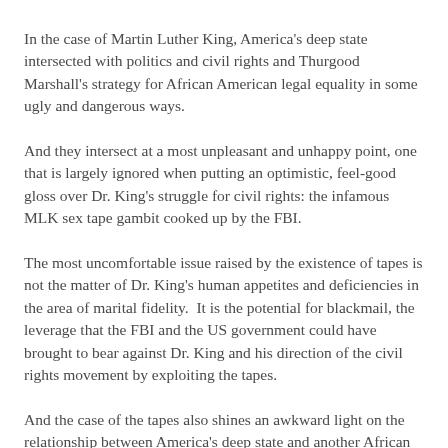In the case of Martin Luther King, America's deep state intersected with politics and civil rights and Thurgood Marshall's strategy for African American legal equality in some ugly and dangerous ways.
And they intersect at a most unpleasant and unhappy point, one that is largely ignored when putting an optimistic, feel-good gloss over Dr. King's struggle for civil rights: the infamous MLK sex tape gambit cooked up by the FBI.
The most uncomfortable issue raised by the existence of tapes is not the matter of Dr. King's human appetites and deficiencies in the area of marital fidelity.  It is the potential for blackmail, the leverage that the FBI and the US government could have brought to bear against Dr. King and his direction of the civil rights movement by exploiting the tapes.
And the case of the tapes also shines an awkward light on the relationship between America's deep state and another African American civil rights giant: Thurgood Marshall.